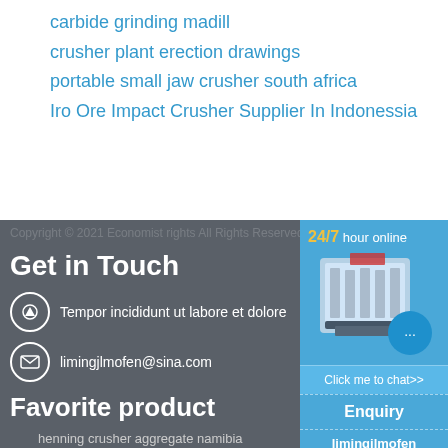carbide grinding madill
crusher plant erection drawings
portable small jaw crusher south africa
Iro Ore Impact Crusher Supplier In Indonessia
Copyright © 2021 Economist rights All Rights Reserved
Get in Touch
Tempor incididunt ut labore et dolore
limingjlmofen@sina.com
Favorite product
henning crusher aggregate namibia
crusher gunawata jaipur
hot sale rock crusher
heavy duty apron feeder vsi crusher
[Figure (infographic): Blue widget panel showing 24/7 hour online text, industrial crusher machine image, chat bubble icon with ellipsis, Click me to chat>> button, Enquiry section, and limingjlmofen footer]
24/7 hour online
Click me to chat>>
Enquiry
limingjlmofen